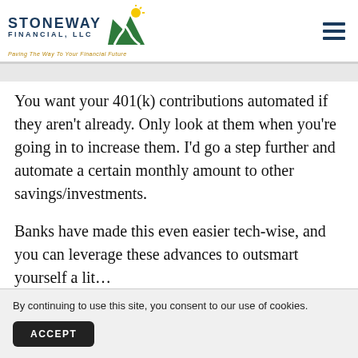[Figure (logo): Stoneway Financial, LLC logo with green mountain/path icon and tagline 'Paving The Way To Your Financial Future']
You want your 401(k) contributions automated if they aren't already. Only look at them when you're going in to increase them. I'd go a step further and automate a certain monthly amount to other savings/investments.
Banks have made this even easier tech-wise, and you can leverage these advances to outsmart yourself a lit...
By continuing to use this site, you consent to our use of cookies.
ACCEPT